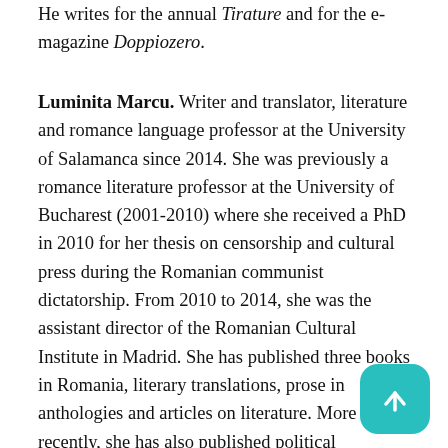He writes for the annual Tirature and for the e-magazine Doppiozero.
Luminita Marcu. Writer and translator, literature and romance language professor at the University of Salamanca since 2014. She was previously a romance literature professor at the University of Bucharest (2001-2010) where she received a PhD in 2010 for her thesis on censorship and cultural press during the Romanian communist dictatorship. From 2010 to 2014, she was the assistant director of the Romanian Cultural Institute in Madrid. She has published three books in Romania, literary translations, prose in anthologies and articles on literature. More recently, she has also published political commentary. Her most recent book is La noi dacii se lupta si astazi cu romanii. Portrete de tara (Editorial Humanitas, 2020, The Dacios and Romanians Continue Fighting Here, Country Profile) is